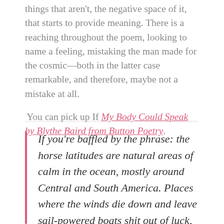exercise in black out poetry— it's the suggestion of things that aren't, the negative space of it, that starts to provide meaning. There is a reaching throughout the poem, looking to name a feeling, mistaking the man made for the cosmic—both in the latter case remarkable, and therefore, maybe not a mistake at all.
You can pick up If My Body Could Speak by Blythe Baird from Button Poetry.
If you're baffled by the phrase: the horse latitudes are natural areas of calm in the ocean, mostly around Central and South America. Places where the winds die down and leave sail-powered boats shit out of luck, to use a sailor's phrase. When